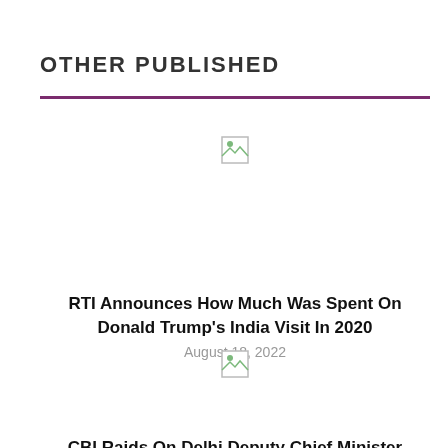OTHER PUBLISHED
[Figure (illustration): Broken/placeholder image icon for article 1]
RTI Announces How Much Was Spent On Donald Trump's India Visit In 2020
August 18, 2022
[Figure (illustration): Broken/placeholder image icon for article 2]
CBI Raids On Delhi Deputy Chief Minister Manish